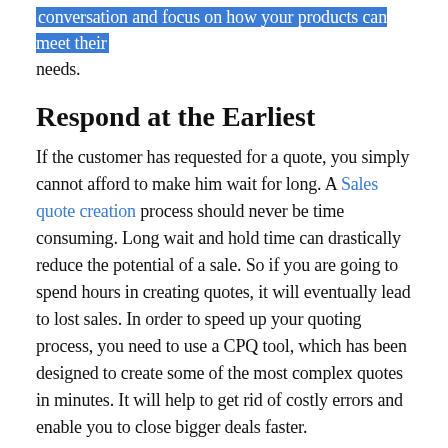conversation and focus on how your products can meet their needs.
Respond at the Earliest
If the customer has requested for a quote, you simply cannot afford to make him wait for long. A Sales quote creation process should never be time consuming. Long wait and hold time can drastically reduce the potential of a sale. So if you are going to spend hours in creating quotes, it will eventually lead to lost sales. In order to speed up your quoting process, you need to use a CPQ tool, which has been designed to create some of the most complex quotes in minutes. It will help to get rid of costly errors and enable you to close bigger deals faster.
These quoting tools also come with ready-made Sales quote templates, which can save substantial amount of time in